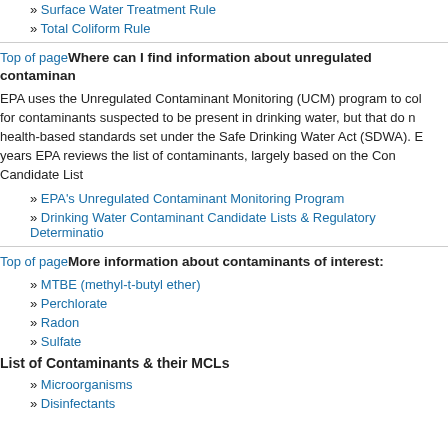» Surface Water Treatment Rule
» Total Coliform Rule
Top of page Where can I find information about unregulated contaminants?
EPA uses the Unregulated Contaminant Monitoring (UCM) program to collect data for contaminants suspected to be present in drinking water, but that do not have health-based standards set under the Safe Drinking Water Act (SDWA). Every five years EPA reviews the list of contaminants, largely based on the Contaminant Candidate List
» EPA's Unregulated Contaminant Monitoring Program
» Drinking Water Contaminant Candidate Lists & Regulatory Determinations
Top of page More information about contaminants of interest:
» MTBE (methyl-t-butyl ether)
» Perchlorate
» Radon
» Sulfate
List of Contaminants & their MCLs
» Microorganisms
» Disinfectants